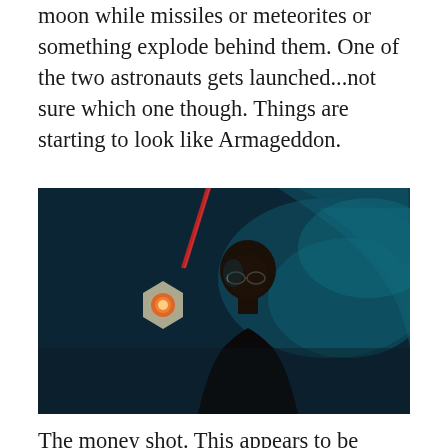moon while missiles or meteorites or something explode behind them. One of the two astronauts gets launched...not sure which one though. Things are starting to look like Armageddon.
[Figure (photo): A man with glasses in a dark scene inside what appears to be a command center or spacecraft, lit with teal/blue lighting. There is a hexagonal emblem with an orange light on the left side of the image.]
The money shot. This appears to be inside some command center. On the War of 1996 website it says that the moon base is commanded from Bejing, China, but we just